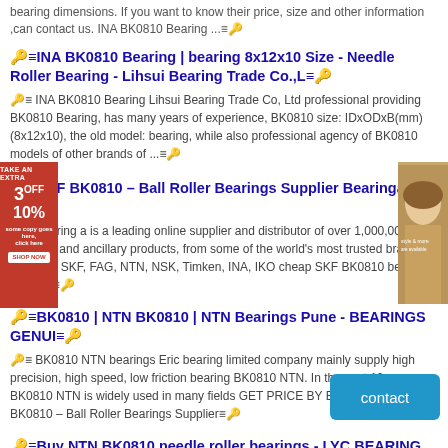bearing dimensions. If you want to know their price, size and other information ,can contact us. INA BK0810 Bearing ...
INA BK0810 Bearing | bearing 8x12x10 Size - Needle Roller Bearing - Lihsui Bearing Trade Co.,L
INA BK0810 Bearing Lihsui Bearing Trade Co, Ltd professional providing BK0810 Bearing, has many years of experience, BK0810 size: IDxODxB(mm) (8x12x10), the old model: bearing, while also professional agency of BK0810 models of other brands of ...
[Figure (photo): Advertisement banner on left side - red background with '3OFF 10%' offer text. Portrait photo of a woman on the right side with brown background.]
SKF BK0810 – Ball Roller Bearings Supplier Bearinga.c
Bearing a is a leading online supplier and distributor of over 1,000,000 bearings and ancillary products, from some of the world's most trusted brands including SKF, FAG, NTN, NSK, Timken, INA, IKO cheap SKF BK0810 bearings for sale.
BK0810 | NTN BK0810 | NTN Bearings Pune - BEARINGS GENUI
BK0810 NTN bearings Eric bearing limited company mainly supply high precision, high speed, low friction bearing BK0810 NTN. In the past 12 years, BK0810 NTN is widely used in many fields GET PRICE BY E-MAIL. SKF BK0810 – Ball Roller Bearings Supplier
Buy NTN BK0810 needle roller bearings - LYC BEARING